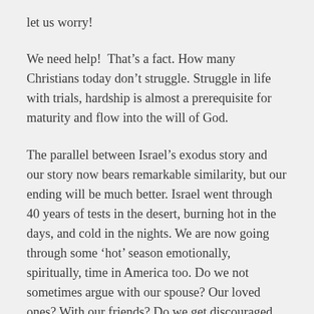let us worry!
We need help!  That's a fact. How many Christians today don't struggle. Struggle in life with trials, hardship is almost a prerequisite for maturity and flow into the will of God.
The parallel between Israel's exodus story and our story now bears remarkable similarity, but our ending will be much better. Israel went through 40 years of tests in the desert, burning hot in the days, and cold in the nights. We are now going through some 'hot' season emotionally, spiritually, time in America too. Do we not sometimes argue with our spouse? Our loved ones? With our friends? Do we get discouraged when we see our ministry is not seeing open door? When we see our kids struggle? When we struggle with kids? Whe…